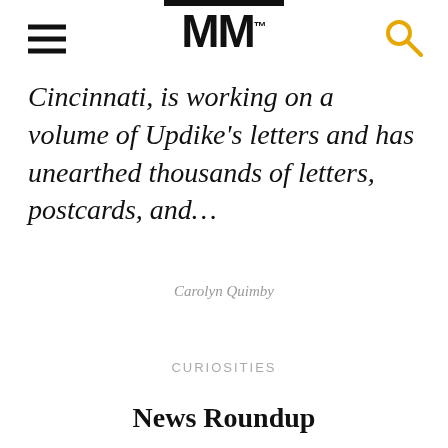MM™
Cincinnati, is working on a volume of Updike's letters and has unearthed thousands of letters, postcards, and…
Carolyn Quimby
CURIOSITIES
News Roundup